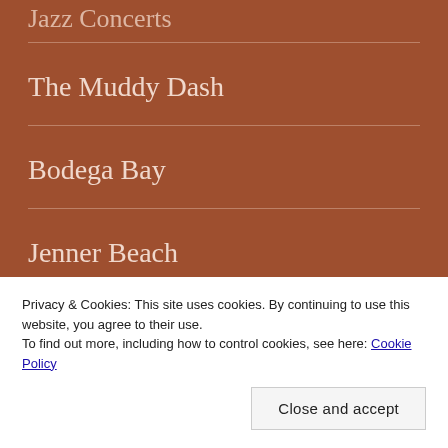Jazz Concerts
The Muddy Dash
Bodega Bay
Jenner Beach
Privacy & Cookies: This site uses cookies. By continuing to use this website, you agree to their use.
To find out more, including how to control cookies, see here: Cookie Policy